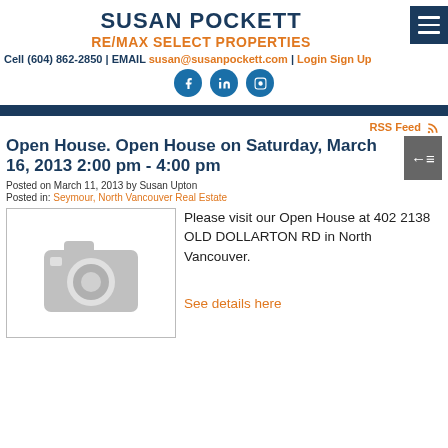SUSAN POCKETT
RE/MAX SELECT PROPERTIES
Cell (604) 862-2850 | EMAIL susan@susanpockett.com | Login Sign Up
[Figure (logo): Social media icons: Facebook, LinkedIn, Instagram]
RSS Feed
Open House. Open House on Saturday, March 16, 2013 2:00 pm - 4:00 pm
Posted on March 11, 2013 by Susan Upton
Posted in: Seymour, North Vancouver Real Estate
[Figure (photo): Gray camera icon placeholder image]
Please visit our Open House at 402 2138 OLD DOLLARTON RD in North Vancouver.

See details here